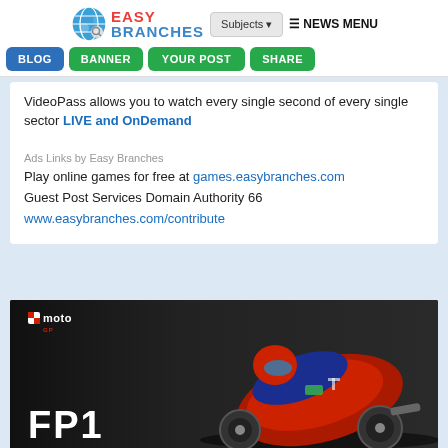[Figure (logo): Easy Branches logo with globe icon, 'EASY BRANCHES' text in red and blue, Subjects dropdown button, NEWS MENU label, and navigation buttons: BLOG (blue), BANNER (green), YOUR POST (green), SHARE (green)]
VideoPass allows you to watch every single second of every single sector LIVE and OnDemand
Ads Links by Easy Branches
Play online games for free at games.easybranches.com
Guest Post Services Domain Authority 66
www.easybranches.com/contribute
[Figure (photo): MotoGP branded image with dark background showing a Yamaha racing motorcycle leaning into a corner, with MotoGP logo in top left and large 'FP1' text in bottom left]